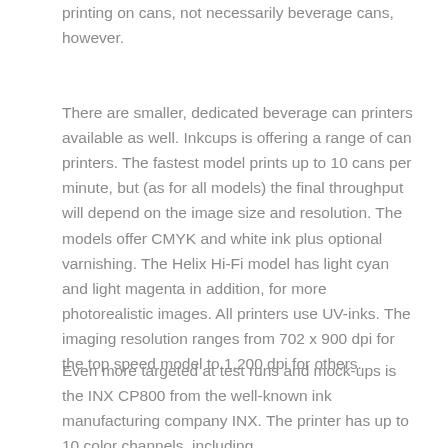printing on cans, not necessarily beverage cans, however.
There are smaller, dedicated beverage can printers available as well. Inkcups is offering a range of can printers. The fastest model prints up to 10 cans per minute, but (as for all models) the final throughput will depend on the image size and resolution. The models offer CMYK and white ink plus optional varnishing. The Helix Hi-Fi model has light cyan and light magenta in addition, for more photorealistic images. All printers use UV-inks. The imaging resolution ranges from 702 x 900 dpi for the top speed model to 1,200 dpi for others.
Even more targeted at test runs and mock-ups is the INX CP800 from the well-known ink manufacturing company INX. The printer has up to 10 color channels, including